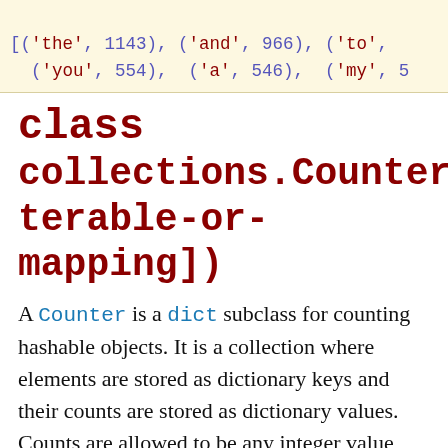[('the', 1143), ('and', 966), ('to', …
  ('you', 554),  ('a', 546),  ('my', 5…
class collections.Counter([iterable-or-mapping])
A Counter is a dict subclass for counting hashable objects. It is a collection where elements are stored as dictionary keys and their counts are stored as dictionary values. Counts are allowed to be any integer value including zero or negative counts. The Counter class is similar to bags or multisets in other languages.